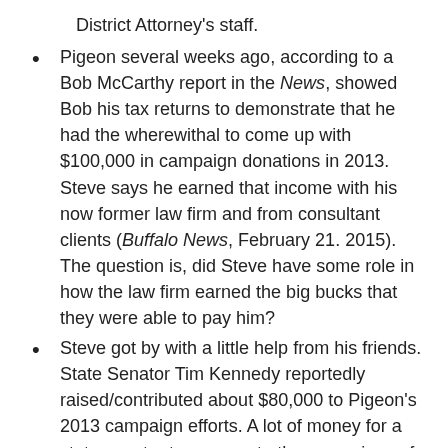District Attorney's staff.
Pigeon several weeks ago, according to a Bob McCarthy report in the News, showed Bob his tax returns to demonstrate that he had the wherewithal to come up with $100,000 in campaign donations in 2013. Steve says he earned that income with his now former law firm and from consultant clients (Buffalo News, February 21. 2015). The question is, did Steve have some role in how the law firm earned the big bucks that they were able to pay him?
Steve got by with a little help from his friends. State Senator Tim Kennedy reportedly raised/contributed about $80,000 to Pigeon's 2013 campaign efforts. A lot of money for a state senator to pass on to the campaigns of others.